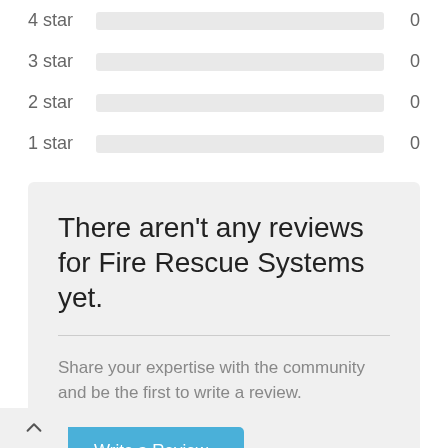4 star — 0
3 star — 0
2 star — 0
1 star — 0
There aren't any reviews for Fire Rescue Systems yet.
Share your expertise with the community and be the first to write a review.
Write a Review